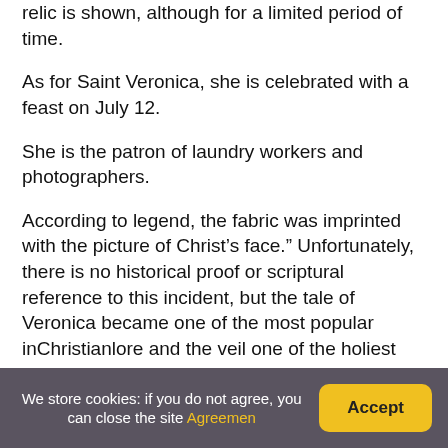relic is shown, although for a limited period of time.
As for Saint Veronica, she is celebrated with a feast on July 12.
She is the patron of laundry workers and photographers.
According to legend, the fabric was imprinted with the picture of Christ's face.” Unfortunately, there is no historical proof or scriptural reference to this incident, but the tale of Veronica became one of the most popular inChristianlore and the veil one of the holiest relics in the Church.
We store cookies: if you do not agree, you can close the site Agreemen Accept